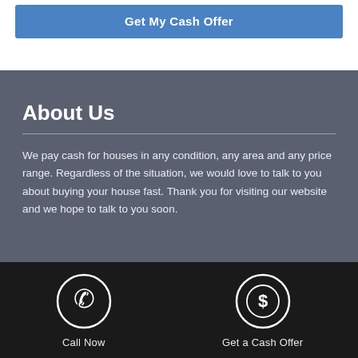Get My Cash Offer
About Us
We pay cash for houses in any condition, any area and any price range. Regardless of the situation, we would love to talk to you about buying your house fast. Thank you for visiting our website and we hope to talk to you soon.
[Figure (infographic): Phone icon in a circle, labeled Call Now]
[Figure (infographic): Dollar sign in a circle, labeled Get a Cash Offer]